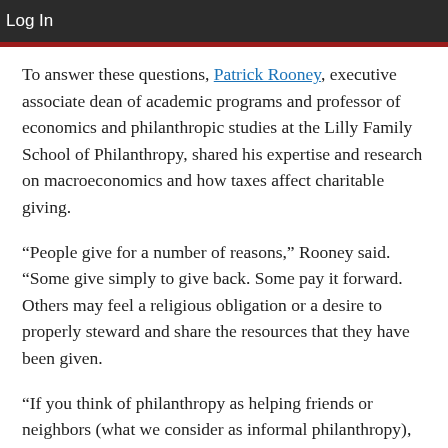Log In
To answer these questions, Patrick Rooney, executive associate dean of academic programs and professor of economics and philanthropic studies at the Lilly Family School of Philanthropy, shared his expertise and research on macroeconomics and how taxes affect charitable giving.
“People give for a number of reasons,” Rooney said. “Some give simply to give back. Some pay it forward. Others may feel a religious obligation or a desire to properly steward and share the resources that they have been given.
“If you think of philanthropy as helping friends or neighbors (what we consider as informal philanthropy),